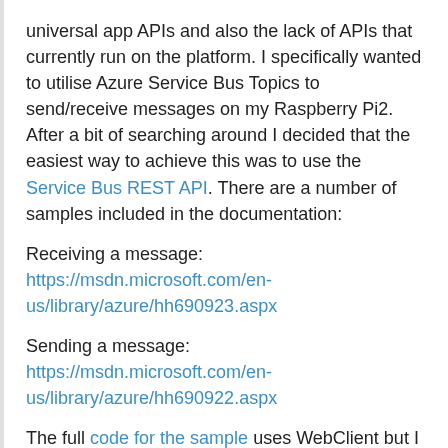universal app APIs and also the lack of APIs that currently run on the platform. I specifically wanted to utilise Azure Service Bus Topics to send/receive messages on my Raspberry Pi2. After a bit of searching around I decided that the easiest way to achieve this was to use the Service Bus REST API. There are a number of samples included in the documentation:
Receiving a message: https://msdn.microsoft.com/en-us/library/azure/hh690923.aspx
Sending a message: https://msdn.microsoft.com/en-us/library/azure/hh690922.aspx
The full code for the sample uses WebClient but I needed to use HttpClient so I converted the samples accordingly.
[EDIT] The above links don't work anymore so I've published my code on GitHub https://github.com/sdspencer-mvp/RaspberryPi2-UnlockTheDoor/blob/master/UnlockTheDoor/MainPage.xaml.cs